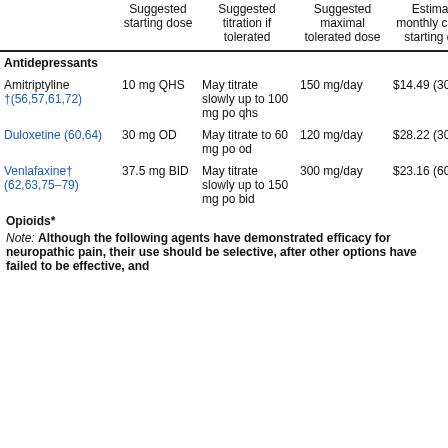|  | Suggested starting dose | Suggested titration if tolerated | Suggested maximal tolerated dose | Estimated monthly cost for starting dose |
| --- | --- | --- | --- | --- |
| Antidepressants |  |  |  |  |
| Amitriptyline †(56,57,61,72) | 10 mg QHS | May titrate slowly up to 100 mg po qhs | 150 mg/day | $14.49 (30) |
| Duloxetine (60,64) | 30 mg OD | May titrate to 60 mg po od | 120 mg/day | $28.22 (30) |
| Venlafaxine† (62,63,75–79) | 37.5 mg BID | May titrate slowly up to 150 mg po bid | 300 mg/day | $23.16 (60) |
Opioids*
Note: Although the following agents have demonstrated efficacy for neuropathic pain, their use should be selective, after other options have failed to be effective, and